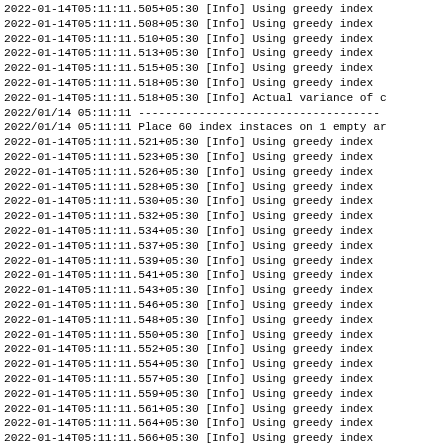Log output showing greedy index usage and placement of 60 index instances on empty arrays, with timestamps from 2022-01-14T05:11:11.505+05:30 through 2022-01-14T05:11:11.566+05:30